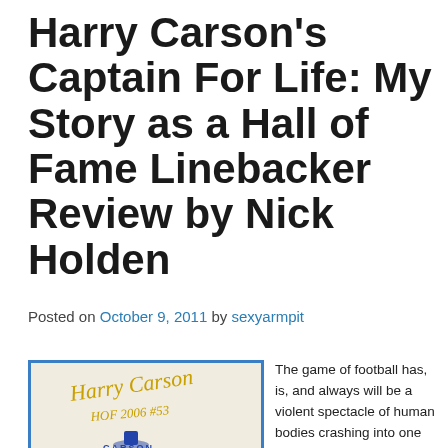Harry Carson's Captain For Life: My Story as a Hall of Fame Linebacker Review by Nick Holden
Posted on October 9, 2011 by sexyarmpit
[Figure (photo): Book cover image of Harry Carson's Captain For Life with a gold cursive signature reading 'Harry Carson HOF 2006 #53' and a small player figure at bottom, with a blue border frame.]
The game of football has, is, and always will be a violent spectacle of human bodies crashing into one another at high